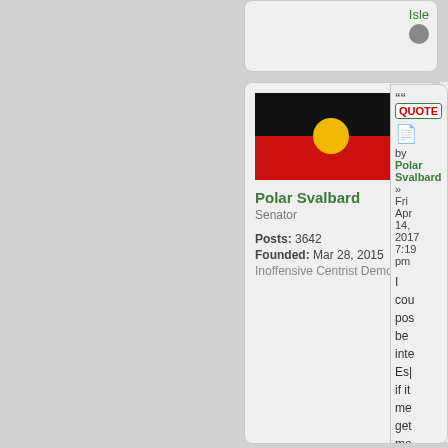[Figure (screenshot): Forum post page showing user profile card for 'Polar Svalbard' with Aboriginal flag avatar, Senator role, 3642 posts, founded Mar 28 2015, Inoffensive Centrist Democracy. Post dated Fri Apr 14, 2017 7:19 pm with partial post body text beginning 'I cou pos be inte Esp if it me get mo nat to alig']
Isle
QUOTE
by Polar Svalbard
» Fri Apr 14, 2017 7:19 pm
[Figure (illustration): Australian Aboriginal flag: black top half, red bottom half, yellow circle in center]
Polar Svalbard
Senator
Posts: 3642
Founded: Mar 28, 2015
Inoffensive Centrist Democracy
I cou pos be inte Esp if it me get mo nat to alig